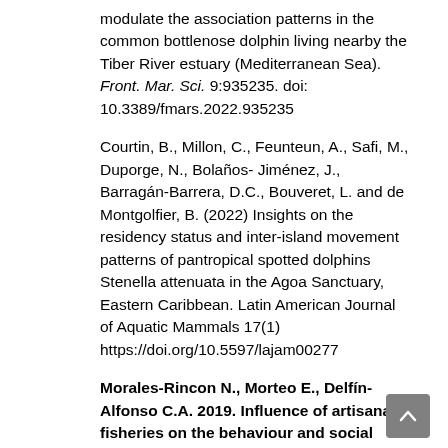modulate the association patterns in the common bottlenose dolphin living nearby the Tiber River estuary (Mediterranean Sea). Front. Mar. Sci. 9:935235. doi: 10.3389/fmars.2022.935235
Courtin, B., Millon, C., Feunteun, A., Safi, M., Duporge, N., Bolaños- Jiménez, J., Barragán-Barrera, D.C., Bouveret, L. and de Montgolfier, B. (2022) Insights on the residency status and inter-island movement patterns of pantropical spotted dolphins Stenella attenuata in the Agoa Sanctuary, Eastern Caribbean. Latin American Journal of Aquatic Mammals 17(1) https://doi.org/10.5597/lajam00277
Morales-Rincon N., Morteo E., Delfín-Alfonso C.A. 2019. Influence of artisanal fisheries on the behaviour and social structure of Tursiops truncatus in the South-western Gulf of Mexico. Journal of the Marine Biological Association of the United Kingdom.1-9